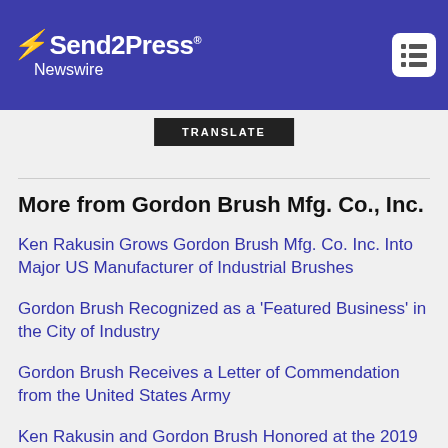Send2Press Newswire
TRANSLATE
More from Gordon Brush Mfg. Co., Inc.
Ken Rakusin Grows Gordon Brush Mfg. Co. Inc. Into Major US Manufacturer of Industrial Brushes
Gordon Brush Recognized as a 'Featured Business' in the City of Industry
Gordon Brush Receives a Letter of Commendation from the United States Army
Ken Rakusin and Gordon Brush Honored at the 2019 MADE IN AMERICA CONVENTION